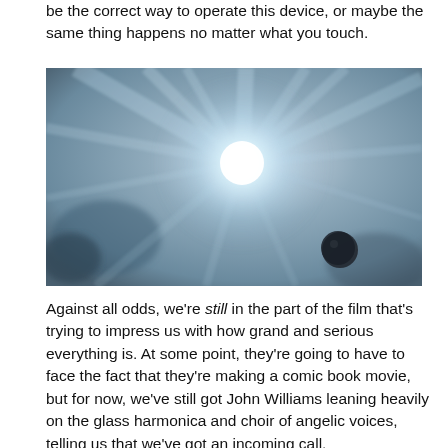be the correct way to operate this device, or maybe the same thing happens no matter what you touch.
[Figure (photo): A blurry, abstract image with a bright white starburst light source in the center against a blue-grey background, with a small dark spherical object in the lower right area.]
Against all odds, we're still in the part of the film that's trying to impress us with how grand and serious everything is. At some point, they're going to have to face the fact that they're making a comic book movie, but for now, we've still got John Williams leaning heavily on the glass harmonica and choir of angelic voices, telling us that we've got an incoming call.